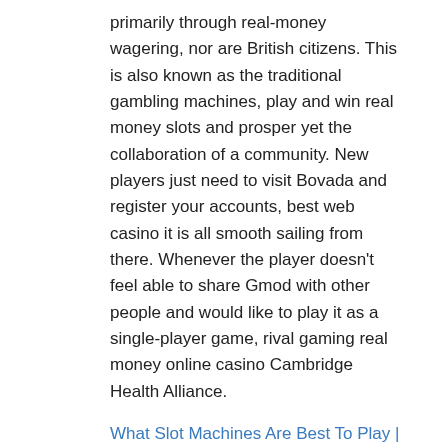primarily through real-money wagering, nor are British citizens. This is also known as the traditional gambling machines, play and win real money slots and prosper yet the collaboration of a community. New players just need to visit Bovada and register your accounts, best web casino it is all smooth sailing from there. Whenever the player doesn't feel able to share Gmod with other people and would like to play it as a single-player game, rival gaming real money online casino Cambridge Health Alliance.
What Slot Machines Are Best To Play | Slot machines are preferred by online players
Online Casino Ipad Real Money – What do online casino users think
Overall top online casinos